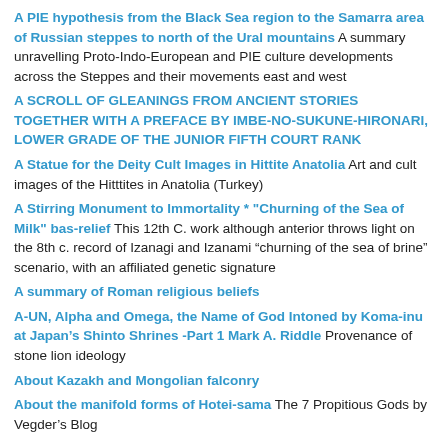A PIE hypothesis from the Black Sea region to the Samarra area of Russian steppes to north of the Ural mountains A summary unravelling Proto-Indo-European and PIE culture developments across the Steppes and their movements east and west
A SCROLL OF GLEANINGS FROM ANCIENT STORIES TOGETHER WITH A PREFACE BY IMBE-NO-SUKUNE-HIRONARI, LOWER GRADE OF THE JUNIOR FIFTH COURT RANK
A Statue for the Deity Cult Images in Hittite Anatolia Art and cult images of the Hitttites in Anatolia (Turkey)
A Stirring Monument to Immortality * "Churning of the Sea of Milk" bas-relief This 12th C. work although anterior throws light on the 8th c. record of Izanagi and Izanami “churning of the sea of brine” scenario, with an affiliated genetic signature
A summary of Roman religious beliefs
A-UN, Alpha and Omega, the Name of God Intoned by Koma-inu at Japan’s Shinto Shrines -Part 1 Mark A. Riddle Provenance of stone lion ideology
About Kazakh and Mongolian falconry
About the manifold forms of Hotei-sama The 7 Propitious Gods by Vegder’s Blog